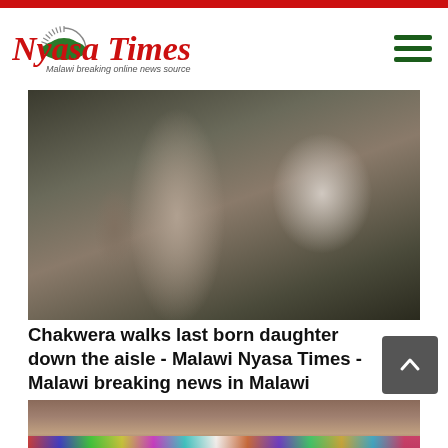Nyasa Times - Malawi breaking online news source
[Figure (photo): Wedding photo: A man in dark suit with red tie smiling, bride in white veil beside him, other people in background]
Chakwera walks last born daughter down the aisle - Malawi Nyasa Times - Malawi breaking news in Malawi
[Figure (photo): Close-up photo of colorful beaded waist beads/jewelry on a person's midsection]